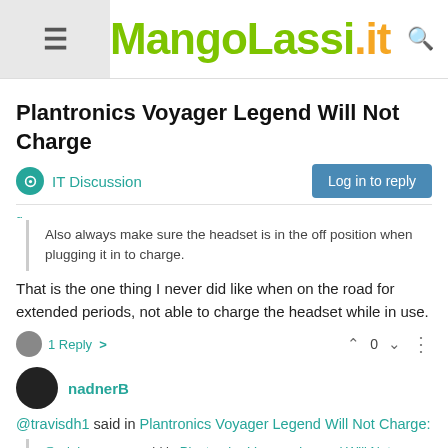MangoLassi.it
Plantronics Voyager Legend Will Not Charge
IT Discussion   Log in to reply
Also always make sure the headset is in the off position when plugging it in to charge.
That is the one thing I never did like when on the road for extended periods, not able to charge the headset while in use.
1 Reply >   0
nadnerB
@travisdh1 said in Plantronics Voyager Legend Will Not Charge:
@minion-queen said in Plantronics Voyager Legend Will Not Charge: